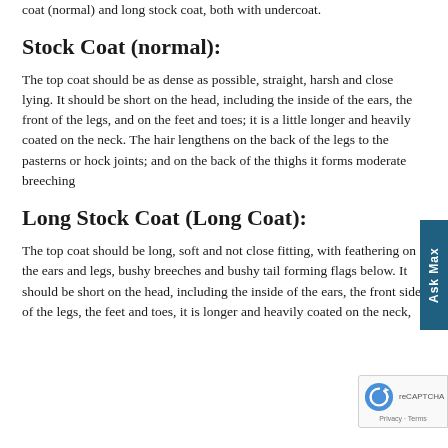coat (normal) and long stock coat, both with undercoat.
Stock Coat (normal):
The top coat should be as dense as possible, straight, harsh and close lying. It should be short on the head, including the inside of the ears, the front of the legs, and on the feet and toes; it is a little longer and heavily coated on the neck. The hair lengthens on the back of the legs to the pasterns or hock joints; and on the back of the thighs it forms moderate breeching
Long Stock Coat (Long Coat):
The top coat should be long, soft and not close fitting, with feathering on the ears and legs, bushy breeches and bushy tail forming flags below. It should be short on the head, including the inside of the ears, the front side of the legs, the feet and toes, it is longer and heavily coated on the neck,